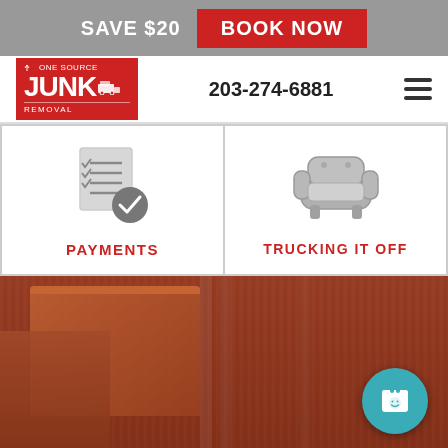SAVE $20   BOOK NOW
[Figure (logo): One Source Junk Removal logo — red background with white text showing 'ONE SOURCE JUNK REMOVAL' and a truck icon]
203-274-6881
[Figure (illustration): Checklist icon with checkmarks and a circled checkmark badge — gray icon for PAYMENTS service]
PAYMENTS
[Figure (illustration): Armchair / sofa icon — gray icon for TRUCKING IT OFF service]
TRUCKING IT OFF
[Figure (photo): Photo of junk/furniture items including wooden dressers and other items in a warehouse or storage space, with a red overlay tint. A teal circular booking button with a calendar/notepad icon is visible in the bottom right.]